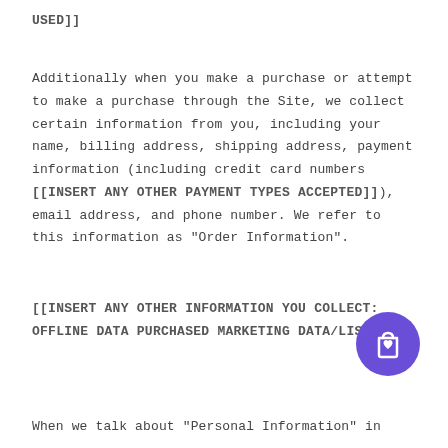USED]]
Additionally when you make a purchase or attempt to make a purchase through the Site, we collect certain information from you, including your name, billing address, shipping address, payment information (including credit card numbers [[INSERT ANY OTHER PAYMENT TYPES ACCEPTED]]), email address, and phone number. We refer to this information as "Order Information".
[[INSERT ANY OTHER INFORMATION YOU COLLECT: OFFLINE DATA PURCHASED MARKETING DATA/LISTS]]
[Figure (illustration): Purple circle with a shopping bag icon containing a heart]
When we talk about "Personal Information" in